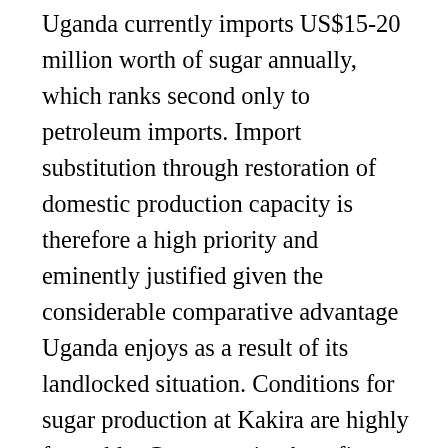Uganda currently imports US$15-20 million worth of sugar annually, which ranks second only to petroleum imports. Import substitution through restoration of domestic production capacity is therefore a high priority and eminently justified given the considerable comparative advantage Uganda enjoys as a result of its landlocked situation. Conditions for sugar production at Kakira are highly favorable. Cane growing benefits from excellent soils, good rainfall distribution (requiring only limited sunplementary irrigation) and relatively low levels of inputs of fertilizers and pesticides. The project brings back to the Kakira complex the original owners who have a demonstrated ability to manage sugar operations at Kakira and